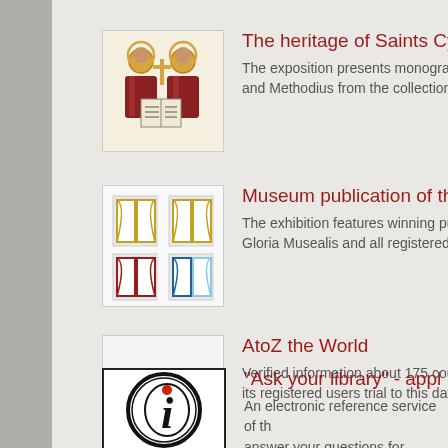The heritage of Saints Cyril an... The exposition presents monographs and Methodius from the collections...
Museum publication of the yea... The exhibition features winning publications Gloria Musealis and all registered p...
AtoZ the World - Verified information about 175 count... its registered users trial to this datab...
"Ask your library" - application... An electronic reference service of th... answer your questions for iPhone, iP...